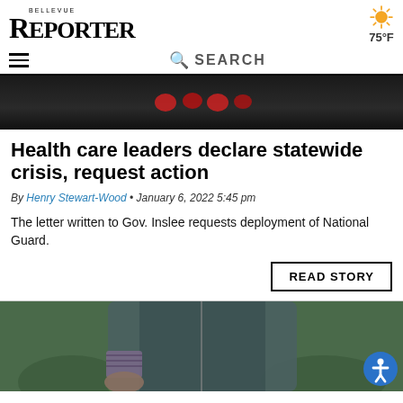BELLEVUE REPORTER
[Figure (other): Sun weather icon with temperature 75°F]
[Figure (photo): Dark background photo with red elements, article hero image]
Health care leaders declare statewide crisis, request action
By Henry Stewart-Wood • January 6, 2022 5:45 pm
The letter written to Gov. Inslee requests deployment of National Guard.
READ STORY
[Figure (photo): Person wearing a dark green puffer jacket outdoors with greenery in background]